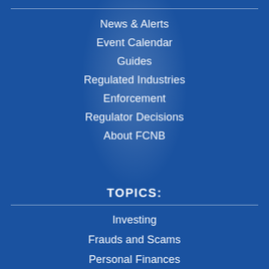News & Alerts
Event Calendar
Guides
Regulated Industries
Enforcement
Regulator Decisions
About FCNB
TOPICS:
Investing
Frauds and Scams
Personal Finances